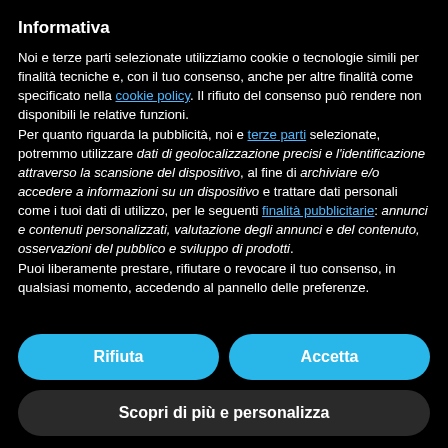Informativa
Noi e terze parti selezionate utilizziamo cookie o tecnologie simili per finalità tecniche e, con il tuo consenso, anche per altre finalità come specificato nella cookie policy. Il rifiuto del consenso può rendere non disponibili le relative funzioni.
Per quanto riguarda la pubblicità, noi e terze parti selezionate, potremmo utilizzare dati di geolocalizzazione precisi e l'identificazione attraverso la scansione del dispositivo, al fine di archiviare e/o accedere a informazioni su un dispositivo e trattare dati personali come i tuoi dati di utilizzo, per le seguenti finalità pubblicitarie: annunci e contenuti personalizzati, valutazione degli annunci e del contenuto, osservazioni del pubblico e sviluppo di prodotti.
Puoi liberamente prestare, rifiutare o revocare il tuo consenso, in qualsiasi momento, accedendo al pannello delle preferenze.
Rifiuta
Accetta
Scopri di più e personalizza